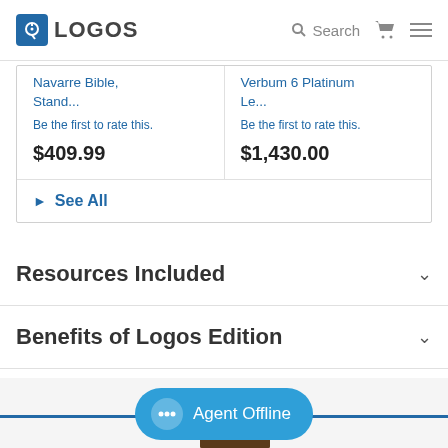LOGOS | Search
Navarre Bible, Stand... | Be the first to rate this. | $409.99
Verbum 6 Platinum Le... | Be the first to rate this. | $1,430.00
See All
Resources Included
Benefits of Logos Edition
[Figure (screenshot): Agent Offline chat button at bottom of page with photo thumbnail]